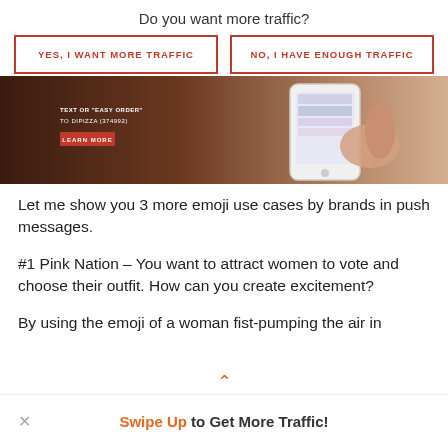Do you want more traffic?
YES, I WANT MORE TRAFFIC
NO, I HAVE ENOUGH TRAFFIC
[Figure (screenshot): Screenshot of a mobile interface showing a pizza ordering page with text 'TEXT OR "EASY ORDER" TO DIPIZZA (374992)' and a LEARN MORE button, alongside a hand holding a smartphone showing emoji/notification interface.]
Let me show you 3 more emoji use cases by brands in push messages.
#1 Pink Nation – You want to attract women to vote and choose their outfit. How can you create excitement?
By using the emoji of a woman fist-pumping the air in
Swipe Up to Get More Traffic!